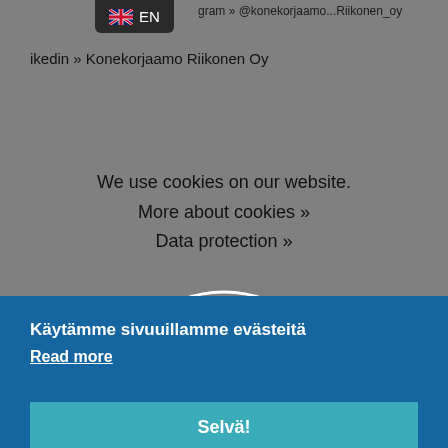EN
LinkedIn » Konekorjaamo Riikonen Oy
We use cookies on our website.
More about cookies »
Data protection »
Käytämme sivuuillamme evästeitä
Read more
Selvä!